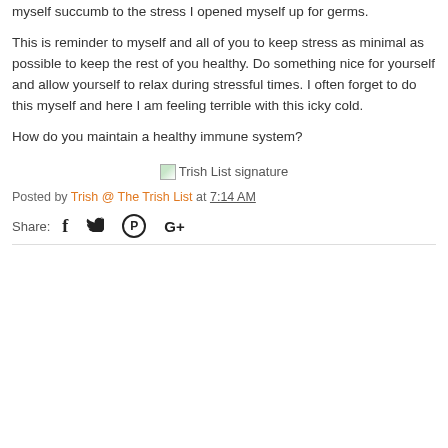myself succumb to the stress I opened myself up for germs.
This is reminder to myself and all of you to keep stress as minimal as possible to keep the rest of you healthy. Do something nice for yourself and allow yourself to relax during stressful times. I often forget to do this myself and here I am feeling terrible with this icky cold.
How do you maintain a healthy immune system?
[Figure (illustration): Trish List signature image with broken image icon]
Posted by Trish @ The Trish List at 7:14 AM
Share: [Facebook icon] [Twitter icon] [Pinterest icon] [Google+ icon]